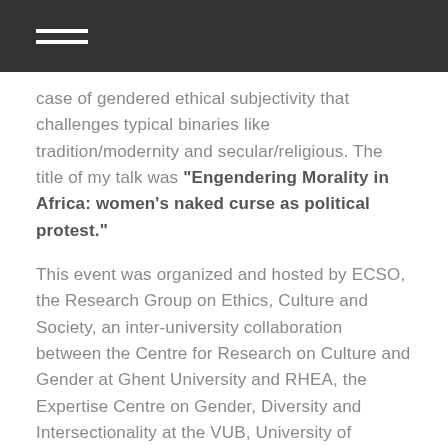case of gendered ethical subjectivity that challenges typical binaries like tradition/modernity and secular/religious. The title of my talk was “Engendering Morality in Africa: women’s naked curse as political protest.”
This event was organized and hosted by ECSO, the Research Group on Ethics, Culture and Society, an inter-university collaboration between the Centre for Research on Culture and Gender at Ghent University and RHEA, the Expertise Centre on Gender, Diversity and Intersectionality at the VUB, University of Brussels.